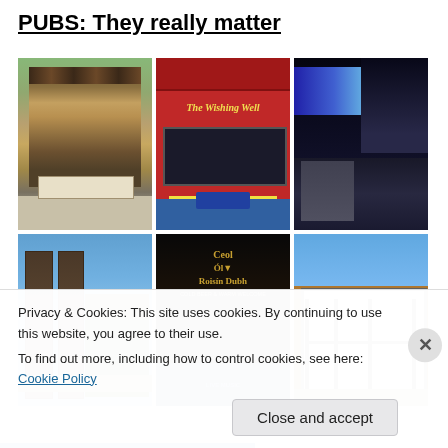PUBS: They really matter
[Figure (photo): Grid of six pub photographs: top row shows a traditional Tudor-style pub building, The Wishing Well pub with red facade, and a night street scene; bottom row shows a building with two chimneys, the Ceol Ól / Roisín Dubh Irish pub with dark signage, and a black-and-white Tudor building]
Privacy & Cookies: This site uses cookies. By continuing to use this website, you agree to their use.
To find out more, including how to control cookies, see here: Cookie Policy